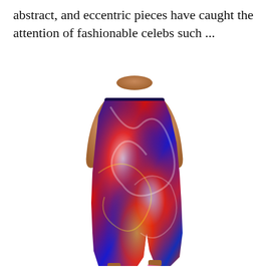abstract, and eccentric pieces have caught the attention of fashionable celebs such ...
[Figure (photo): A model wearing a colorful abstract-print midi skirt with swirling red, blue, white and yellow patterns. The skirt features a side slit and the model wears pink heels. The model is cropped at the midriff, showing a bare stomach.]